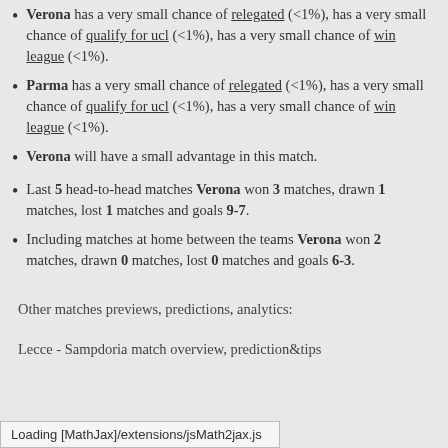Verona has a very small chance of relegated (<1%), has a very small chance of qualify for ucl (<1%), has a very small chance of win league (<1%).
Parma has a very small chance of relegated (<1%), has a very small chance of qualify for ucl (<1%), has a very small chance of win league (<1%).
Verona will have a small advantage in this match.
Last 5 head-to-head matches Verona won 3 matches, drawn 1 matches, lost 1 matches and goals 9-7.
Including matches at home between the teams Verona won 2 matches, drawn 0 matches, lost 0 matches and goals 6-3.
Other matches previews, predictions, analytics:
Lecce - Sampdoria match overview, prediction&tips
Loading [MathJax]/extensions/jsMath2jax.js